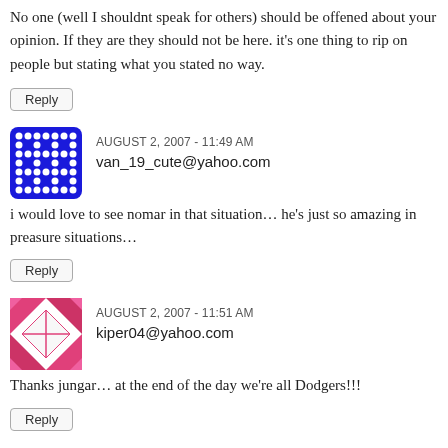No one (well I shouldnt speak for others) should be offened about your opinion. If they are they should not be here. it's one thing to rip on people but stating what you stated no way.
Reply
AUGUST 2, 2007 - 11:49 AM
van_19_cute@yahoo.com
i would love to see nomar in that situation… he's just so amazing in preasure situations…
Reply
[Figure (illustration): Blue square avatar with white dot pattern in a grid/checkerboard style for van_19_cute@yahoo.com]
AUGUST 2, 2007 - 11:51 AM
kiper04@yahoo.com
Thanks jungar… at the end of the day we're all Dodgers!!!
Reply
[Figure (illustration): Pink/red patchwork square avatar for kiper04@yahoo.com]